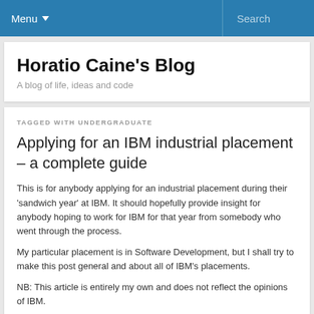Menu ▾   Search
Horatio Caine's Blog
A blog of life, ideas and code
TAGGED WITH UNDERGRADUATE
Applying for an IBM industrial placement – a complete guide
This is for anybody applying for an industrial placement during their 'sandwich year' at IBM. It should hopefully provide insight for anybody hoping to work for IBM for that year from somebody who went through the process.
My particular placement is in Software Development, but I shall try to make this post general and about all of IBM's placements.
NB: This article is entirely my own and does not reflect the opinions of IBM.